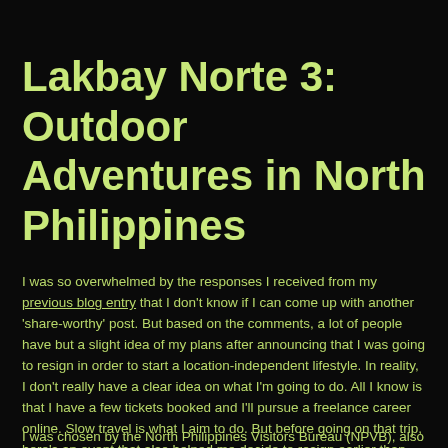Lakbay Norte 3: Outdoor Adventures in North Philippines
I was so overwhelmed by the responses I received from my previous blog entry that I don't know if I can come up with another 'share-worthy' post. But based on the comments, a lot of people have but a slight idea of my plans after announcing that I was going to resign in order to start a location-independent lifestyle. In reality, I don't really have a clear idea on what I'm going to do. All I know is that I have a few tickets booked and I'll pursue a freelance career online. Slow travel is what I aim to do. But before going on that trip, here's an event that also helped me decide to resign earlier than expected.
Lakbay Norte 3 Adventure
I was chosen by the North Philippines Visitors Bureau (NPVB), also with five other…